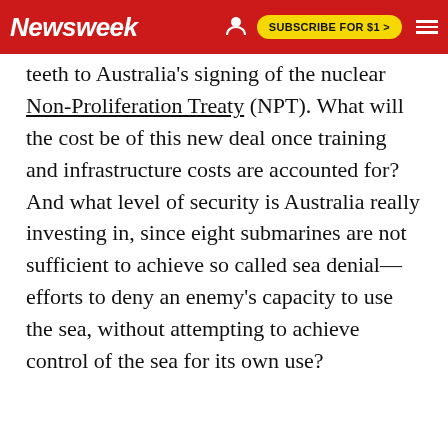Newsweek | SUBSCRIBE FOR $1 >
teeth to Australia's signing of the nuclear Non-Proliferation Treaty (NPT). What will the cost be of this new deal once training and infrastructure costs are accounted for? And what level of security is Australia really investing in, since eight submarines are not sufficient to achieve so called sea denial—efforts to deny an enemy's capacity to use the sea, without attempting to achieve control of the sea for its own use?